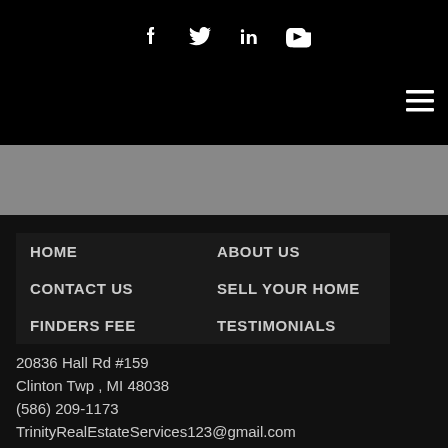[Figure (other): Social media icons row (Facebook, Twitter, LinkedIn, YouTube) in white on black background]
[Figure (other): Hamburger menu icon (three horizontal lines) in top right]
[Figure (other): Grey mid band / image area]
HOME
ABOUT US
CONTACT US
SELL YOUR HOME
FINDERS FEE
TESTIMONIALS
20836 Hall Rd #159
Clinton Twp , MI 48038
(586) 209-1173
TrinityRealEstateServices123@gmail.com
[Figure (other): Social media icons row (Facebook, Twitter, LinkedIn, YouTube) in white on dark background — bottom footer]